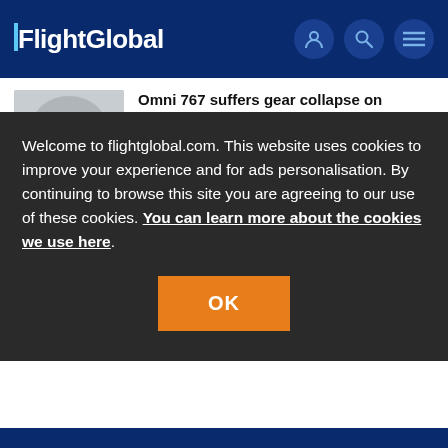FlightGlobal
Omni 767 suffers gear collapse on landing at Bucharest
28 Aug 2020
News
Welcome to flightglobal.com. This website uses cookies to improve your experience and for ads personalisation. By continuing to browse this site you are agreeing to our use of these cookies. You can learn more about the cookies we use here.
OK